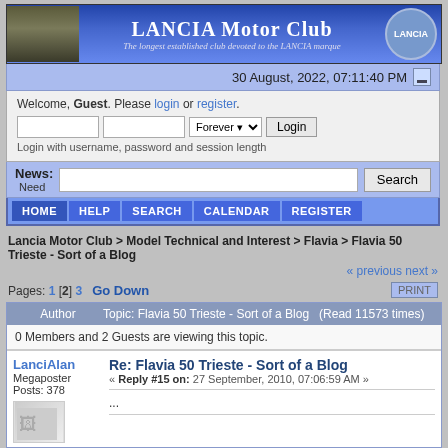[Figure (screenshot): Lancia Motor Club website banner with vintage car image and Lancia logo]
30 August, 2022, 07:11:40 PM
Welcome, Guest. Please login or register.
Login with username, password and session length
News: Need
HOME  HELP  SEARCH  CALENDAR  REGISTER
Lancia Motor Club > Model Technical and Interest > Flavia > Flavia 50 Trieste - Sort of a Blog
« previous next »
Pages: 1 [2] 3   Go Down
| Author | Topic: Flavia 50 Trieste - Sort of a Blog (Read 11573 times) |
| --- | --- |
|  | 0 Members and 2 Guests are viewing this topic. |
LanciAlan
Megaposter
Posts: 378
Re: Flavia 50 Trieste - Sort of a Blog
« Reply #15 on: 27 September, 2010, 07:06:59 AM »
...